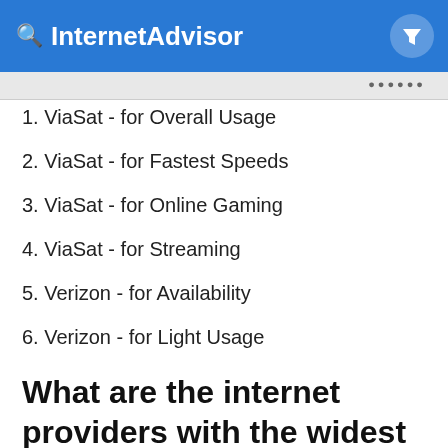InternetAdvisor
1. ViaSat - for Overall Usage
2. ViaSat - for Fastest Speeds
3. ViaSat - for Online Gaming
4. ViaSat - for Streaming
5. Verizon - for Availability
6. Verizon - for Light Usage
What are the internet providers with the widest coverage in Barrelville, MD?
1. Verizon - 100.00%
2. HughesNet - 100.00%